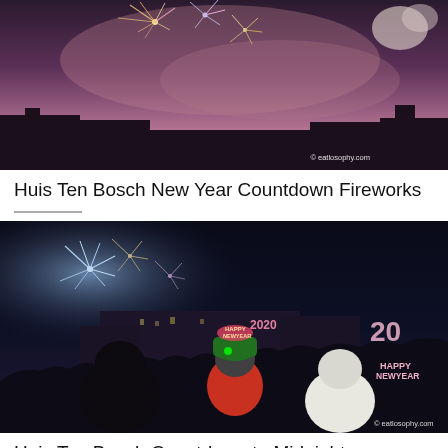[Figure (photo): Fireworks display over Huis Ten Bosch at night, with colorful fireworks lighting up the sky and silhouettes of buildings below. Watermark: © eatlosophy.com]
Huis Ten Bosch New Year Countdown Fireworks
[Figure (photo): People at Huis Ten Bosch New Year countdown celebration at midnight. A woman in green hat with Happy New Year 2020 headband smiles at camera, another person in white in foreground, fireworks visible in dark background. Watermark: © eatlosophy.com]
Huis Ten Bosch Countdown to Midnight